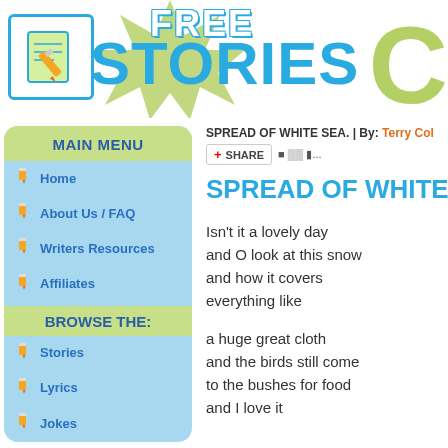[Figure (logo): Free Stories Club website header with logo box, starburst background, FREE STORIES text in blue, and green C letter]
MAIN MENU
Home
About Us / FAQ
Writers Resources
Affiliates
BROWSE THE:
Stories
Lyrics
Jokes
Authors
SUBMIT A:
SPREAD OF WHITE SEA. | By: Terry Col...
SPREAD OF WHITE
Isn't it a lovely day
and O look at this snow
and how it covers
everything like

a huge great cloth
and the birds still come
to the bushes for food
and I love it